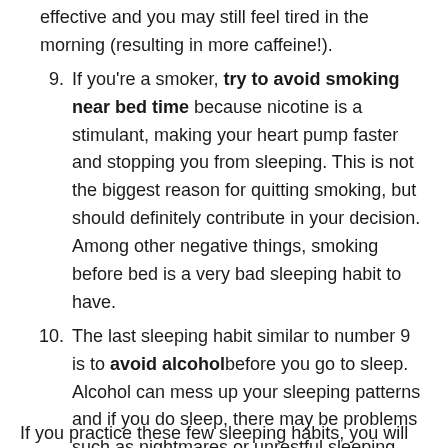(continuation) effective and you may still feel tired in the morning (resulting in more caffeine!).
9. If you're a smoker, try to avoid smoking near bed time because nicotine is a stimulant, making your heart pump faster and stopping you from sleeping. This is not the biggest reason for quitting smoking, but should definitely contribute in your decision. Among other negative things, smoking before bed is a very bad sleeping habit to have.
10. The last sleeping habit similar to number 9 is to avoid alcohol before you go to sleep. Alcohol can mess up your sleeping patterns and if you do sleep, there may be problems such as nightmares or unrestful sleeping.
If you practice these few sleeping habits, you will